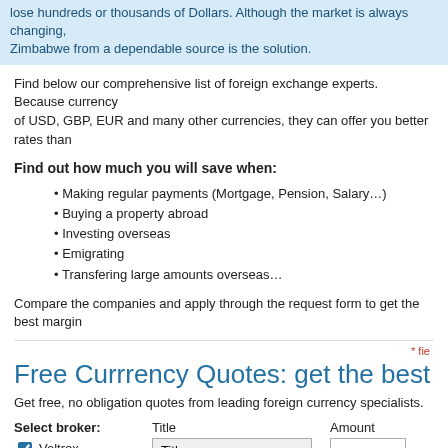lose hundreds or thousands of Dollars. Although the market is always changing, Zimbabwe from a dependable source is the solution.
Find below our comprehensive list of foreign exchange experts. Because currency of USD, GBP, EUR and many other currencies, they can offer you better rates than
Find out how much you will save when:
Making regular payments (Mortgage, Pension, Salary…)
Buying a property abroad
Investing overseas
Emigrating
Transfering large amounts overseas…
Compare the companies and apply through the request form to get the best margin
Free Currrency Quotes: get the best rate n
Get free, no obligation quotes from leading foreign currency specialists.
Select broker:
Title
Amount
Voltrex
Name *
From :